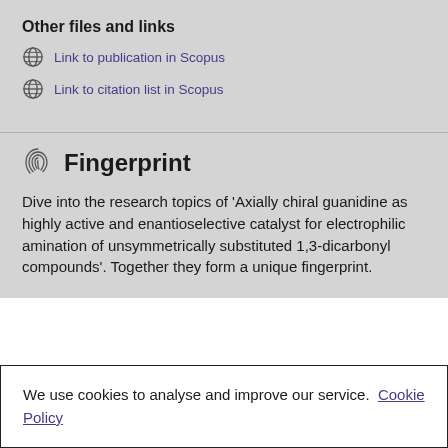Other files and links
Link to publication in Scopus
Link to citation list in Scopus
Fingerprint
Dive into the research topics of 'Axially chiral guanidine as highly active and enantioselective catalyst for electrophilic amination of unsymmetrically substituted 1,3-dicarbonyl compounds'. Together they form a unique fingerprint.
We use cookies to analyse and improve our service. Cookie Policy